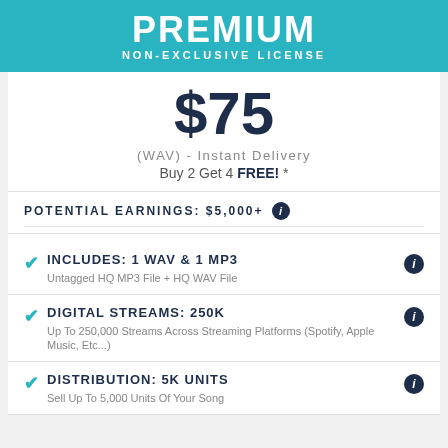PREMIUM NON-EXCLUSIVE LICENSE
$75
(WAV) - Instant Delivery
Buy 2 Get 4 FREE! *
POTENTIAL EARNINGS: $5,000+
INCLUDES: 1 WAV & 1 MP3 — Untagged HQ MP3 File + HQ WAV File
DIGITAL STREAMS: 250K — Up To 250,000 Streams Across Streaming Platforms (Spotify, Apple Music, Etc...)
DISTRIBUTION: 5K UNITS — Sell Up To 5,000 Units Of Your Song